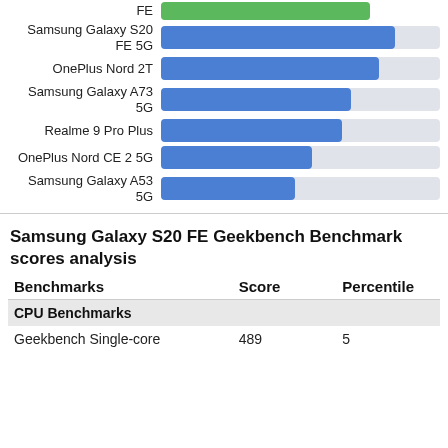[Figure (bar-chart): Geekbench Benchmark scores (partial)]
Samsung Galaxy S20 FE Geekbench Benchmark scores analysis
| Benchmarks | Score | Percentile |
| --- | --- | --- |
| CPU Benchmarks |  |  |
| Geekbench Single-core | 489 | 5 |